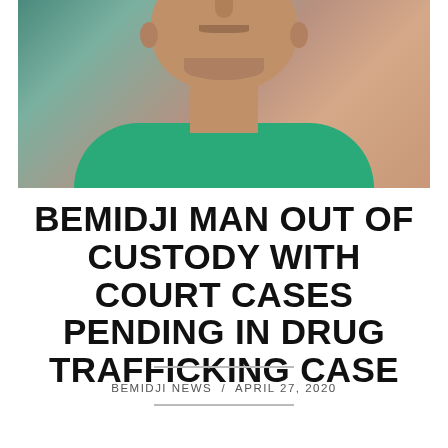[Figure (photo): Mugshot of an older man with gray facial stubble wearing a teal/green shirt, photographed against a blurred background]
BEMIDJI MAN OUT OF CUSTODY WITH COURT CASES PENDING IN DRUG TRAFFICKING CASE
BEMIDJI NEWS / APRIL 27, 2020